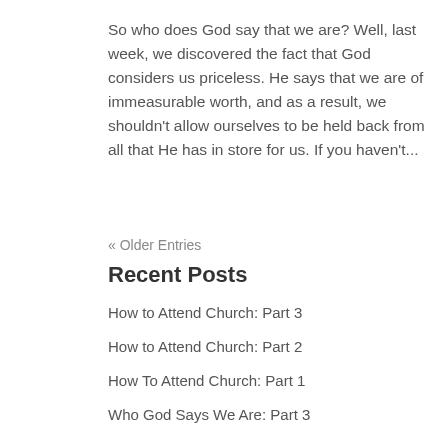So who does God say that we are?  Well, last week, we discovered the fact that God considers us priceless.  He says that we are of immeasurable worth, and as a result, we shouldn't allow ourselves to be held back from all that He has in store for us.  If you haven't...
« Older Entries
Recent Posts
How to Attend Church: Part 3
How to Attend Church: Part 2
How To Attend Church: Part 1
Who God Says We Are: Part 3
Who God Says We Are: Part 2
Crunchbase